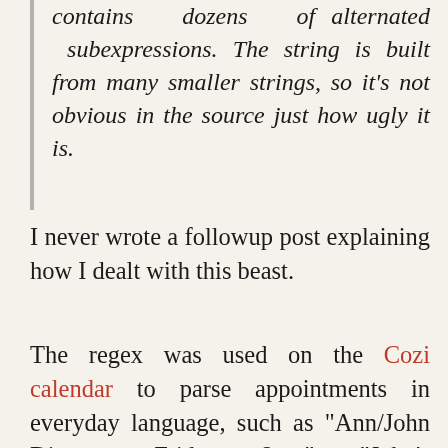contains dozens of alternated subexpressions. The string is built from many smaller strings, so it's not obvious in the source just how ugly it is.
I never wrote a followup post explaining how I dealt with this beast.
The regex was used on the Cozi calendar to parse appointments in everyday language, such as "Ann/John Dinner out Friday at 8pm" or "John's birthday every Dec.